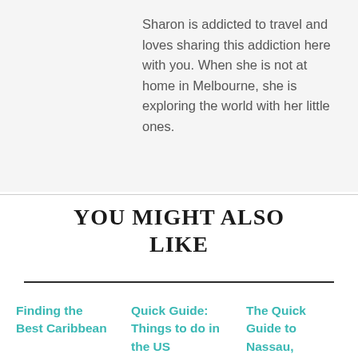Sharon is addicted to travel and loves sharing this addiction here with you. When she is not at home in Melbourne, she is exploring the world with her little ones.
YOU MIGHT ALSO LIKE
Finding the Best Caribbean
Quick Guide: Things to do in the US
The Quick Guide to Nassau,